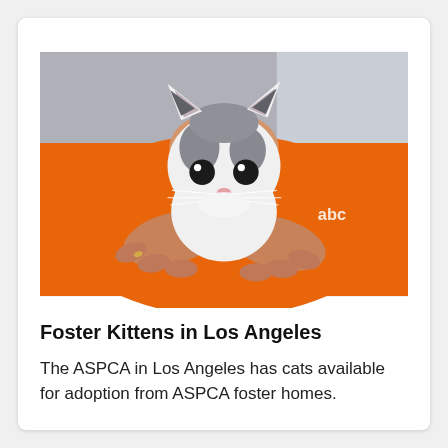[Figure (photo): A small black and white kitten with large ears being held gently in the cupped hands of a person wearing an orange ASPCA shirt. The kitten faces the camera with wide dark eyes. The background is blurred.]
Foster Kittens in Los Angeles
The ASPCA in Los Angeles has cats available for adoption from ASPCA foster homes.